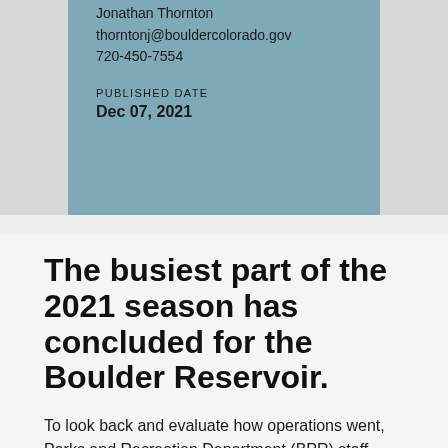Jonathan Thornton
thorntonj@bouldercolorado.gov
720-450-7554
PUBLISHED DATE
Dec 07, 2021
The busiest part of the 2021 season has concluded for the Boulder Reservoir.
To look back and evaluate how operations went, Parks and Recreation Department (BPR) staff gathered feedback from stakeholders and